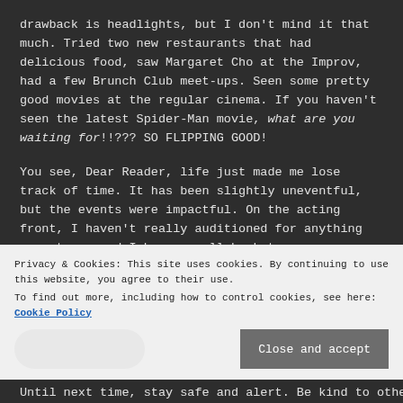drawback is headlights, but I don't mind it that much. Tried two new restaurants that had delicious food, saw Margaret Cho at the Improv, had a few Brunch Club meet-ups. Seen some pretty good movies at the regular cinema. If you haven't seen the latest Spider-Man movie, what are you waiting for!!??? SO FLIPPING GOOD!
You see, Dear Reader, life just made me lose track of time. It has been slightly uneventful, but the events were impactful. On the acting front, I haven't really auditioned for anything except one and I have a call back to...
Privacy & Cookies: This site uses cookies. By continuing to use this website, you agree to their use.
To find out more, including how to control cookies, see here: Cookie Policy
Until next time, stay safe and alert. Be kind to others